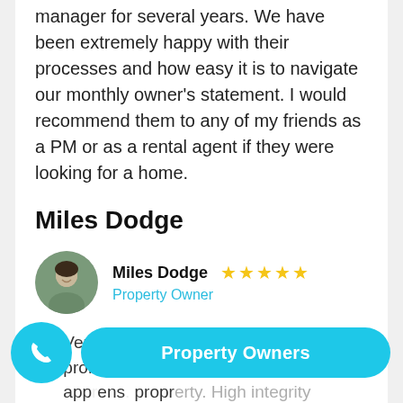manager for several years. We have been extremely happy with their processes and how easy it is to navigate our monthly owner's statement. I would recommend them to any of my friends as a PM or as a rental agent if they were looking for a home.
Miles Dodge
[Figure (photo): Circular avatar photo of Miles Dodge, a man smiling outdoors]
Miles Dodge ★★★★★ Property Owner
Very prompt on follow up and professional in their communication and approach. High integrity including being open and willing to do the th...
Property Owners